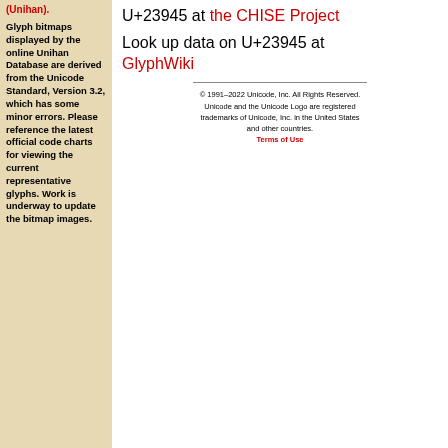(Unihan).
Glyph bitmaps displayed by the online Unihan Database are derived from the Unicode Standard, Version 3.2, which has some minor errors. Please reference the latest official code charts for viewing the current representative glyphs. Work is underway to update the bitmap images.
U+23945 at the CHISE Project
Look up data on U+23945 at GlyphWiki
© 1991–2022 Unicode, Inc. All Rights Reserved. Unicode and the Unicode Logo are registered trademarks of Unicode, Inc. in the United States and other countries.
Terms of Use